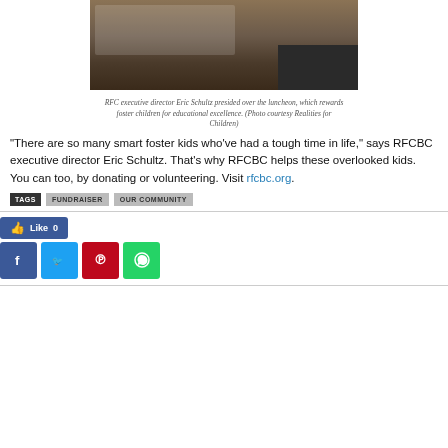[Figure (photo): RFC executive director Eric Schultz presiding over a luncheon in a banquet hall with tables and a stage]
RFC executive director Eric Schultz presided over the luncheon, which rewards foster children for educational excellence. (Photo courtesy Realities for Children)
“There are so many smart foster kids who’ve had a tough time in life,” says RFCBC executive director Eric Schultz. That’s why RFCBC helps these overlooked kids. You can too, by donating or volunteering. Visit rfcbc.org.
TAGS  FUNDRAISER  OUR COMMUNITY
[Figure (infographic): Facebook Like button showing Like 0]
[Figure (infographic): Social sharing icons: Facebook, Twitter, Pinterest, WhatsApp]